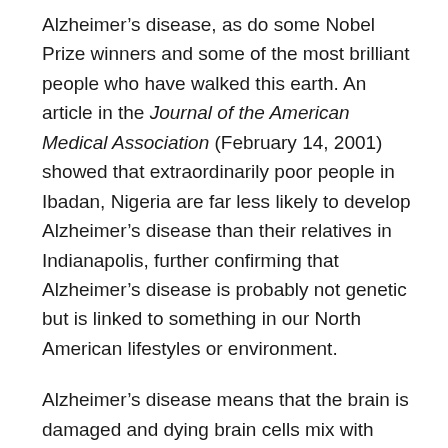Alzheimer's disease, as do some Nobel Prize winners and some of the most brilliant people who have walked this earth. An article in the Journal of the American Medical Association (February 14, 2001) showed that extraordinarily poor people in Ibadan, Nigeria are far less likely to develop Alzheimer's disease than their relatives in Indianapolis, further confirming that Alzheimer's disease is probably not genetic but is linked to something in our North American lifestyles or environment.
Alzheimer's disease means that the brain is damaged and dying brain cells mix with tangles of the protein beta amyloid. Many years ago, the Kentucky Nuns Study showed that nuns who had the most mini-strokes showed the symptoms of Alzheimer's disease, while many with lots of beta amyloid did not have signs of that disease.